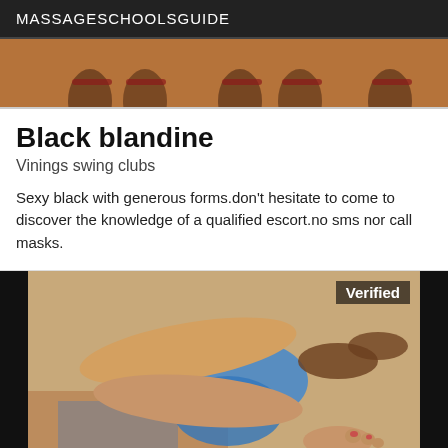MASSAGESCHOOLSGUIDE
[Figure (photo): Top strip showing feet/legs on an orange-brown background]
Black blandine
Vinings swing clubs
Sexy black with generous forms.don't hesitate to come to discover the knowledge of a qualified escort.no sms nor call masks.
[Figure (photo): Photo of legs and feet on a patterned surface with blue object, with a 'Verified' badge in the top right corner]